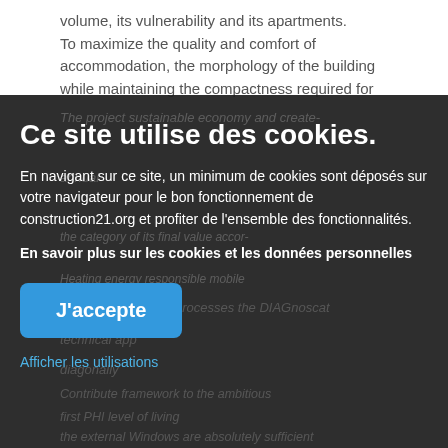volume, its vulnerability and its apartments. To maximize the quality and comfort of accommodation, the morphology of the building while maintaining the compactness required for
Ce site utilise des cookies.
En navigant sur ce site, un minimum de cookies sont déposés sur votre navigateur pour le bon fonctionnement de construction21.org et profiter de l'ensemble des fonctionnalités.
En savoir plus sur les cookies et les données personnelles
J'accepte
Afficher les utilisations